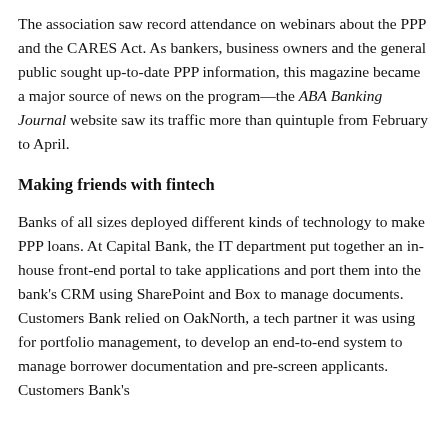The association saw record attendance on webinars about the PPP and the CARES Act. As bankers, business owners and the general public sought up-to-date PPP information, this magazine became a major source of news on the program—the ABA Banking Journal website saw its traffic more than quintuple from February to April.
Making friends with fintech
Banks of all sizes deployed different kinds of technology to make PPP loans. At Capital Bank, the IT department put together an in-house front-end portal to take applications and port them into the bank's CRM using SharePoint and Box to manage documents. Customers Bank relied on OakNorth, a tech partner it was using for portfolio management, to develop an end-to-end system to manage borrower documentation and pre-screen applicants. Customers Bank's